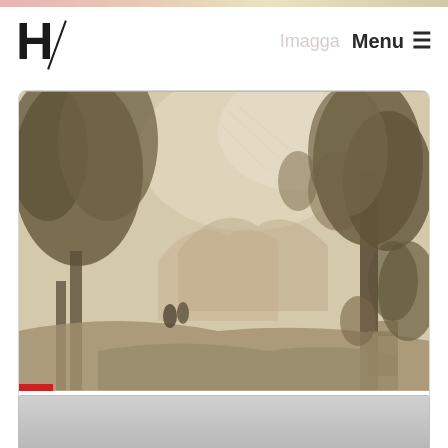H/ Imagga Menu ☰
[Figure (illustration): Sepia-toned etching or engraving of a classical landscape with large trees on left and right, mountains in background, two small figures in middle ground, and architectural elements on the right. Red bar at bottom left corner.]
Imagga  7.6%